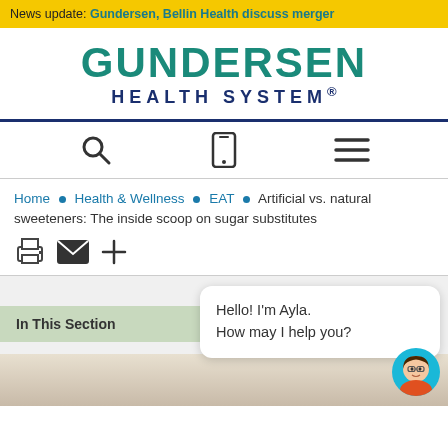News update: Gundersen, Bellin Health discuss merger
[Figure (logo): Gundersen Health System logo with teal GUNDERSEN text and dark blue HEALTH SYSTEM text]
[Figure (infographic): Navigation bar with search icon, mobile icon, and hamburger menu icon]
Home ■ Health & Wellness ■ EAT ■ Artificial vs. natural sweeteners: The inside scoop on sugar substitutes
[Figure (infographic): Action icons: print, email, and plus]
In This Section
Hello! I'm Ayla.
How may I help you?
[Figure (illustration): Ayla chatbot avatar - animated character with glasses in a teal circle]
[Figure (photo): Bottom partial image showing sugar or powder in a bowl]